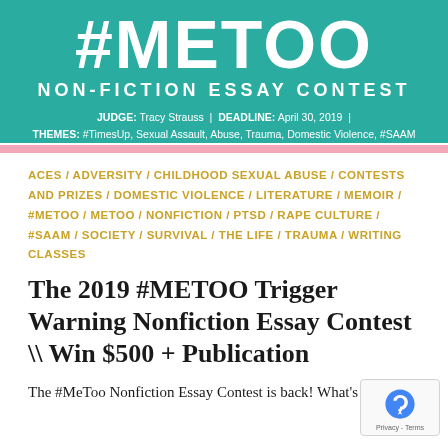[Figure (other): Banner with teal background showing #METOO NON-FICTION ESSAY CONTEST with judge Tracy Strauss, deadline April 30 2019, themes including #TimesUp, Sexual Assault, Abuse, Trauma, Domestic Violence, #SAAM, followed by a pink horizontal bar]
ACES / ADVERSITY / CHILDHOOD SEXUAL ABUSE / CONTESTS AND PRIZES / DOMESTIC VIOLENCE / LITERATURE / MEMOIR / #METOO / METOO / NONFICTION / PTSD / RAPE CULTURE / #SAAM / SOCIETY / SURVIVAL / THE LIFE / TRAUMA / WRITING CLASSES
The 2019 #METOO Trigger Warning Nonfiction Essay Contest \ Win $500 + Publication
The #MeToo Nonfiction Essay Contest is back! What's